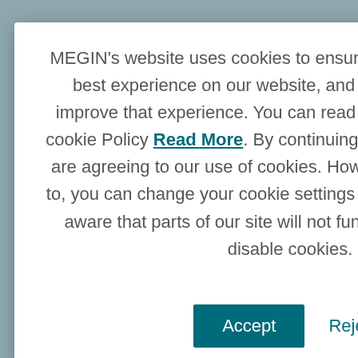MEGIN’s website uses cookies to ensure that we give you the best experience on our website, and that we continue to improve that experience. You can read more about MEGIN’s cookie Policy Read More. By continuing to browse the site you are agreeing to our use of cookies. However, if you would like to, you can change your cookie settings at any time. Please be aware that parts of our site will not function correctly if you disable cookies.
Accept   Reject
Epilepsy program as